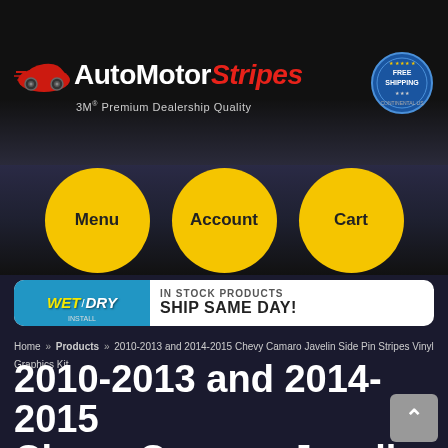[Figure (logo): AutoMotorStripes logo with car graphic and 3M Premium Dealership Quality tagline, plus Free Shipping badge]
[Figure (infographic): Three yellow circle navigation buttons: Menu, Account, Cart]
[Figure (infographic): Wet/Dry install banner: IN STOCK PRODUCTS SHIP SAME DAY!]
Home » Products » 2010-2013 and 2014-2015 Chevy Camaro Javelin Side Pin Stripes Vinyl Graphics Kit
2010-2013 and 2014-2015 Chevy Camaro Javelin Side Pin Stripes Vinyl Graphics Kit